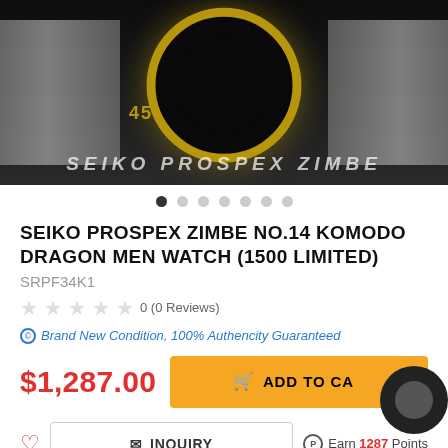[Figure (photo): Close-up product photo of a Seiko Prospex Zimbe diver watch with black dial, gold-colored bezel markings, and metal bracelet. Text overlay reads 'SEIKO PROSPEX ZIMBE' at the bottom of the image.]
SEIKO PROSPEX ZIMBE NO.14 KOMODO DRAGON MEN WATCH (1500 LIMITED)
SRPF34K1
0 (0 Reviews)
Brand New Condition, 100% Authencity Guaranteed
$1,287.00
ADD TO CART
INQUIRY
Earn 1287 Points